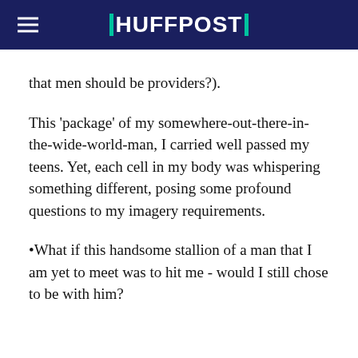HUFFPOST
that men should be providers?).
This 'package' of my somewhere-out-there-in-the-wide-world-man, I carried well passed my teens. Yet, each cell in my body was whispering something different, posing some profound questions to my imagery requirements.
•What if this handsome stallion of a man that I am yet to meet was to hit me - would I still chose to be with him?